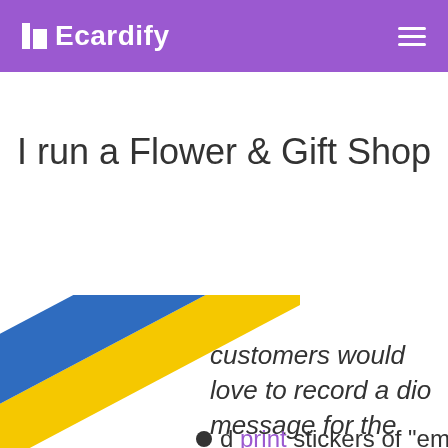Ecardify
I run a Flower & Gift Shop
[Figure (illustration): Diagonal blue and yellow stripes graphic element in bottom-left corner]
customers would love to record a dio message for the recipient
print stickers of "empty"